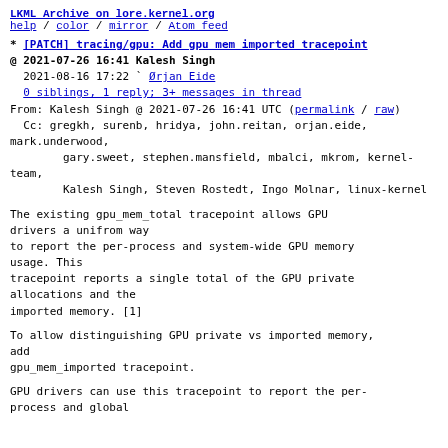LKML Archive on lore.kernel.org
help / color / mirror / Atom feed
* [PATCH] tracing/gpu: Add gpu mem imported tracepoint
@ 2021-07-26 16:41 Kalesh Singh
  2021-08-16 17:22 ` Ørjan Eide
  0 siblings, 1 reply; 3+ messages in thread
From: Kalesh Singh @ 2021-07-26 16:41 UTC (permalink / raw)
  Cc: gregkh, surenb, hridya, john.reitan, orjan.eide, mark.underwood,
          gary.sweet, stephen.mansfield, mbalci, mkrom, kernel-team,
          Kalesh Singh, Steven Rostedt, Ingo Molnar, linux-kernel
The existing gpu_mem_total tracepoint allows GPU drivers a unifrom way
to report the per-process and system-wide GPU memory usage. This
tracepoint reports a single total of the GPU private allocations and the
imported memory. [1]
To allow distinguishing GPU private vs imported memory, add
gpu_mem_imported tracepoint.
GPU drivers can use this tracepoint to report the per-process and global